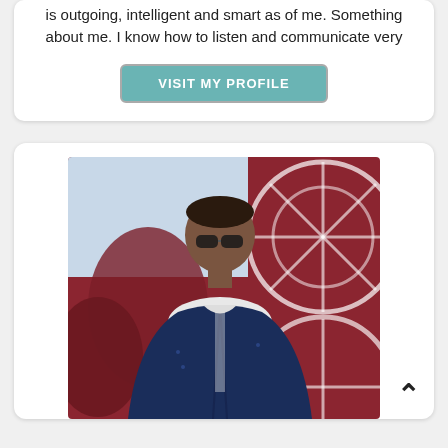is outgoing, intelligent and smart as of me. Something about me. I know how to listen and communicate very
VISIT MY PROFILE
[Figure (photo): A man wearing sunglasses and a navy blue jacket over a white shirt, standing in front of a dark red background with white geometric/wheel designs. He is smiling slightly.]